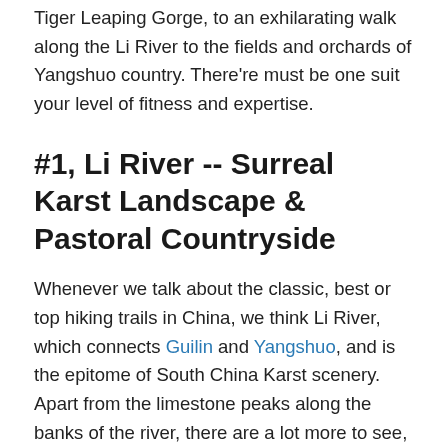Tiger Leaping Gorge, to an exhilarating walk along the Li River to the fields and orchards of Yangshuo country. There're must be one suit your level of fitness and expertise.
#1, Li River -- Surreal Karst Landscape & Pastoral Countryside
Whenever we talk about the classic, best or top hiking trails in China, we think Li River, which connects Guilin and Yangshuo, and is the epitome of South China Karst scenery. Apart from the limestone peaks along the banks of the river, there are a lot more to see, from the rice terraces, tranquil villages, lovely islets, bamboo groves, buffalos grazing the grass, and cormorant fisherman.